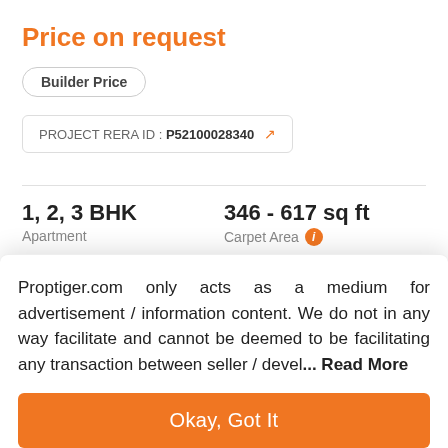Price on request
Builder Price
PROJECT RERA ID : P52100028340
1, 2, 3 BHK
Apartment
346 - 617 sq ft
Carpet Area
Project Location
Proptiger.com only acts as a medium for advertisement / information content. We do not in any way facilitate and cannot be deemed to be facilitating any transaction between seller / devel... Read More
Okay, Got It